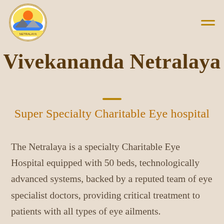[Figure (logo): Circular logo with colorful emblem for Vivekananda Netralaya hospital]
Vivekananda Netralaya
Super Specialty Charitable Eye hospital
The Netralaya is a specialty Charitable Eye Hospital equipped with 50 beds, technologically advanced systems, backed by a reputed team of eye specialist doctors, providing critical treatment to patients with all types of eye ailments.